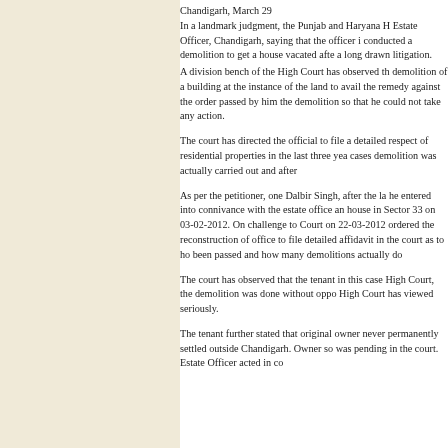Chandigarh, March 29
In a landmark judgment, the Punjab and Haryana High Court has come down heavily on the Estate Officer, Chandigarh, saying that the officer illegally, in connivance with the landlord, conducted a demolition to get a house vacated after the tenant had taken the matter to court in a long drawn litigation.
A division bench of the High Court has observed that the Estate Officer conducted the demolition of a building at the instance of the landlord when the tenant had a pending case to avail the remedy against the order passed by him. The officer had deliberately conducted the demolition so that he could not take any action.
The court has directed the official to file a detailed affidavit with specific information in respect of residential properties in the last three years including how many notices were issued, cases demolition was actually carried out and after giving opportunity of hearing.
As per the petitioner, one Dalbir Singh, after the landlord got an order for his eviction, he entered into connivance with the estate office and carried out the illegal demolition of the house in Sector 33 on 03-02-2012. On challenge to this, a single bench of the High Court on 22-03-2012 ordered the reconstruction of the house and also directed the estate office to file detailed affidavit in the court as to how many eviction orders in the state had been passed and how many demolitions actually done.
The court has observed that the tenant in this case was a petitioner before this very High Court, the demolition was done without opportunity of hearing which fact the High Court has viewed seriously.
The tenant further stated that original owner never lived there and the original owner permanently settled outside Chandigarh. Owner so-and-so the case was pending in the court. Estate Officer acted in c